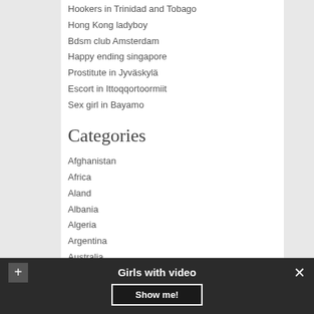Hookers in Trinidad and Tobago
Hong Kong ladyboy
Bdsm club Amsterdam
Happy ending singapore
Prostitute in Jyväskylä
Escort in Ittoqqortoormiit
Sex girl in Bayamo
Categories
Afghanistan
Africa
Aland
Albania
Algeria
Argentina
Australia
Austria
Girls with video
Show me!